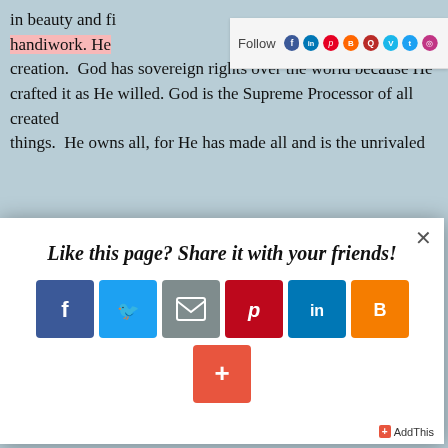in beauty and fi handiwork. He creation.  God has sovereign rights over the world because He crafted it as He willed. God is the Supreme Processor of all created things.  He owns all, for He has made all and is the unrivaled
[Figure (screenshot): Follow bar with social media icons: LinkedIn, Pinterest, Blogger, Quora, Vimeo, Twitter, Instagram]
[Figure (screenshot): Modal popup with 'Like this page? Share it with your friends!' message and social sharing buttons for Facebook, Twitter, Email, Pinterest, LinkedIn, Blogger, and a plus button. AddThis branding at bottom right.]